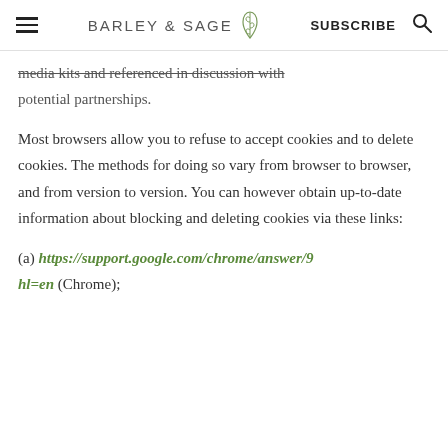BARLEY & SAGE | SUBSCRIBE
media kits and referenced in discussion with potential partnerships.
Most browsers allow you to refuse to accept cookies and to delete cookies. The methods for doing so vary from browser to browser, and from version to version. You can however obtain up-to-date information about blocking and deleting cookies via these links:
(a) https://support.google.com/chrome/answer/9 hl=en (Chrome);